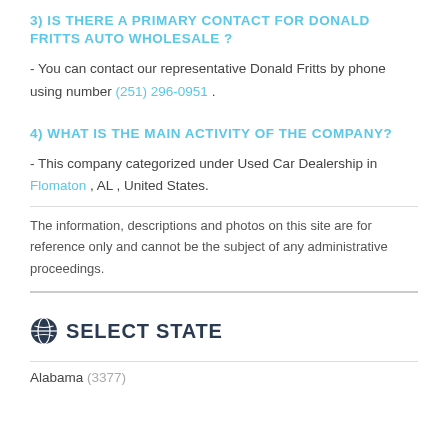3) IS THERE A PRIMARY CONTACT FOR DONALD FRITTS AUTO WHOLESALE ?
- You can contact our representative Donald Fritts by phone using number (251) 296-0951 .
4) WHAT IS THE MAIN ACTIVITY OF THE COMPANY?
- This company categorized under Used Car Dealership in Flomaton , AL , United States.
The information, descriptions and photos on this site are for reference only and cannot be the subject of any administrative proceedings.
SELECT STATE
Alabama (3377)